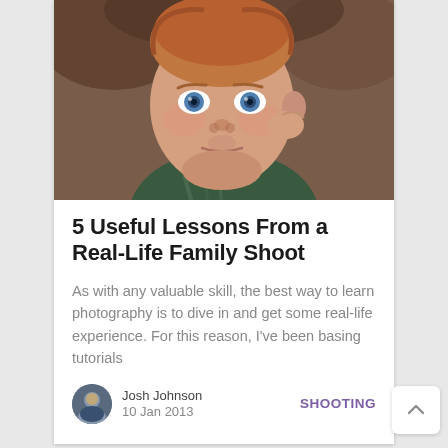[Figure (photo): Close-up photo of a baby with blue eyes and reddish hair, wearing a plaid shirt, with a curious expression, touching their ear]
5 Useful Lessons From a Real-Life Family Shoot
As with any valuable skill, the best way to learn photography is to dive in and get some real-life experience. For this reason, I've been basing tutorials
Josh Johnson
10 Jan 2013
SHOOTING